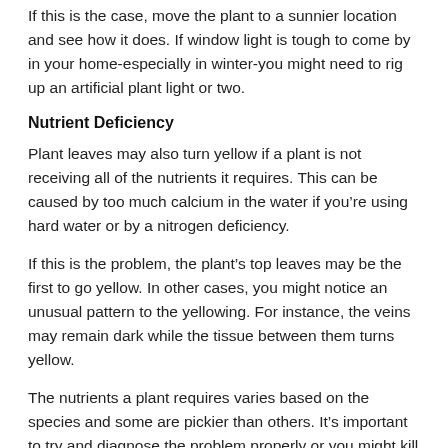If this is the case, move the plant to a sunnier location and see how it does. If window light is tough to come by in your home-especially in winter-you might need to rig up an artificial plant light or two.
Nutrient Deficiency
Plant leaves may also turn yellow if a plant is not receiving all of the nutrients it requires. This can be caused by too much calcium in the water if you’re using hard water or by a nitrogen deficiency.
If this is the problem, the plant’s top leaves may be the first to go yellow. In other cases, you might notice an unusual pattern to the yellowing. For instance, the veins may remain dark while the tissue between them turns yellow.
The nutrients a plant requires varies based on the species and some are pickier than others. It’s important to try and diagnose the problem properly or you might kill a plant that can otherwise be brought back to health.